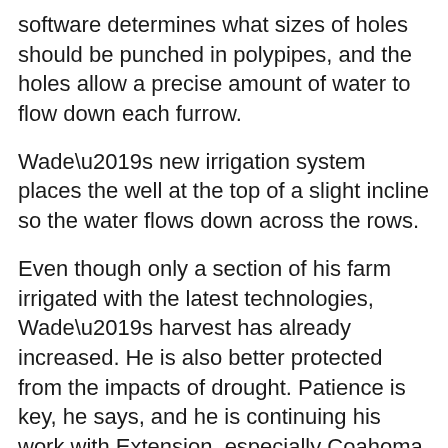software determines what sizes of holes should be punched in polypipes, and the holes allow a precise amount of water to flow down each furrow.
Wade’s new irrigation system places the well at the top of a slight incline so the water flows down across the rows.
Even though only a section of his farm irrigated with the latest technologies, Wade’s harvest has already increased. He is also better protected from the impacts of drought. Patience is key, he says, and he is continuing his work with Extension, especially Coahoma County Extension agent Don Respess, to irrigate the entire farm.
“I’m going to need to do some land leveling. To do irrigation like this, you have to take certain steps, and you need certain kinds of equipment to irrigate it and irrigate it right,” he continues. “I’m taking it little by little so I can do it right.